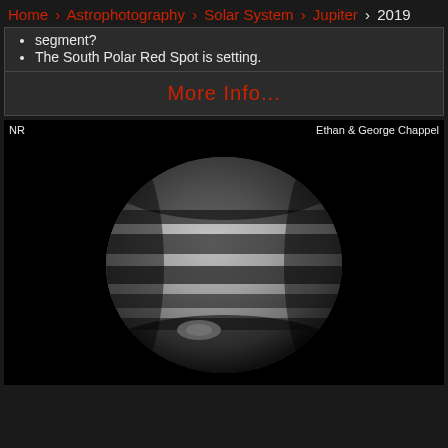Home > Astrophotography > Solar System > Jupiter > 2019
segment?
The South Polar Red Spot is setting.
More Info...
[Figure (photo): Black and white astrophotography image of Jupiter showing cloud bands and a bright spot near the south pole. Credit: Ethan & George Chappel. Label: NR.]